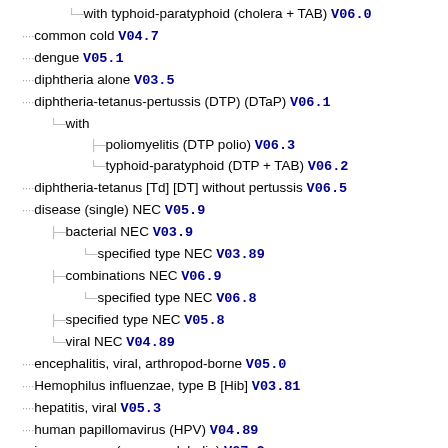with typhoid-paratyphoid (cholera + TAB) V06.0
common cold V04.7
dengue V05.1
diphtheria alone V03.5
diphtheria-tetanus-pertussis (DTP) (DTaP) V06.1
with
poliomyelitis (DTP polio) V06.3
typhoid-paratyphoid (DTP + TAB) V06.2
diphtheria-tetanus [Td] [DT] without pertussis V06.5
disease (single) NEC V05.9
bacterial NEC V03.9
specified type NEC V03.89
combinations NEC V06.9
specified type NEC V06.8
specified type NEC V05.8
viral NEC V04.89
encephalitis, viral, arthropod-borne V05.0
Hemophilus influenzae, type B [Hib] V03.81
hepatitis, viral V05.3
human papillomavirus (HPV) V04.89
immune sera (gamma globulin) V07.2
influenza V04.81